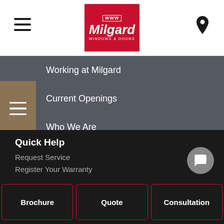[Figure (logo): Milgard Windows & Doors logo on red background]
Working at Milgard
Current Openings
Who We Are
Our Values
Quick Help
Request Service
Register Your Warranty
Brochure
Quote
Consultation